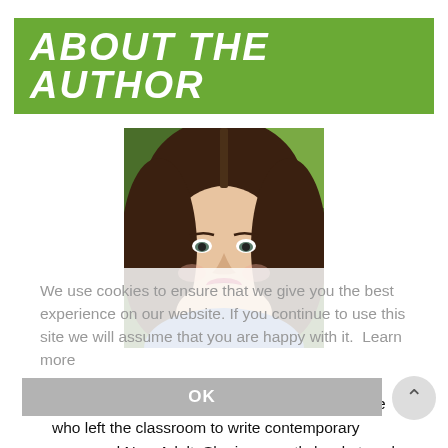ABOUT THE AUTHOR
[Figure (photo): Author photo: a woman with long brown hair smiling, photographed outdoors with green foliage background]
We use cookies to ensure that we give you the best experience on our website. If you continue to use this site we will assume that you are happy with it.  Learn more
OK
Elyssa Patrick is a former high school English teacher who left the classroom to write contemporary romances and New Adult. She is currently hard at work